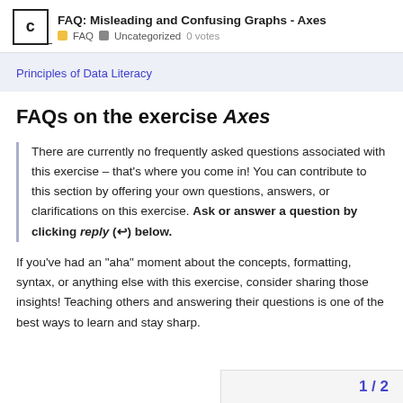FAQ: Misleading and Confusing Graphs - Axes | FAQ | Uncategorized 0 votes
Principles of Data Literacy
FAQs on the exercise Axes
There are currently no frequently asked questions associated with this exercise – that's where you come in! You can contribute to this section by offering your own questions, answers, or clarifications on this exercise. Ask or answer a question by clicking reply (↩) below.
If you've had an “aha” moment about the concepts, formatting, syntax, or anything else with this exercise, consider sharing those insights! Teaching others and answering their questions is one of the best ways to learn and stay sharp.
1 / 2